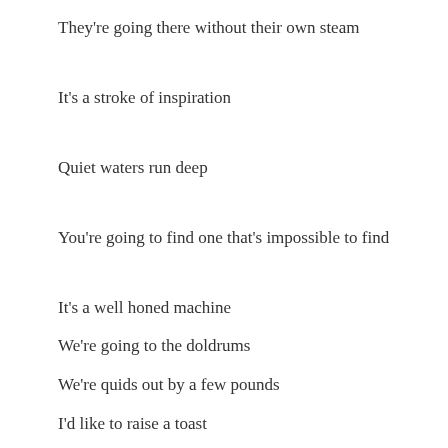They're going there without their own steam
It's a stroke of inspiration
Quiet waters run deep
You're going to find one that's impossible to find
It's a well honed machine
We're going to the doldrums
We're quids out by a few pounds
I'd like to raise a toast